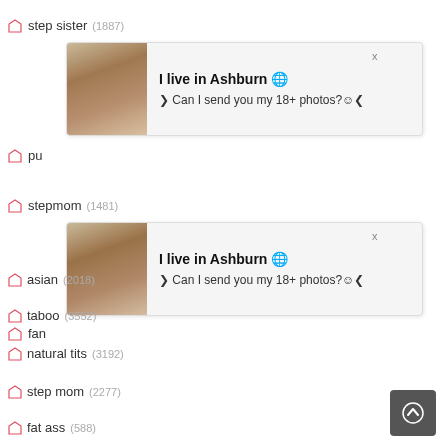step sister (1887)
[Figure (screenshot): Ad popup: woman photo, text 'I live in Ashburn, Can I send you my 18+ photos?']
pu...
stepmom (1481)
[Figure (screenshot): Ad popup: woman photo, text 'I live in Ashburn, Can I send you my 18+ photos?']
fan...
asian (2018)
taboo (3552)
natural tits (3192)
step mom (2277)
fat ass (588)